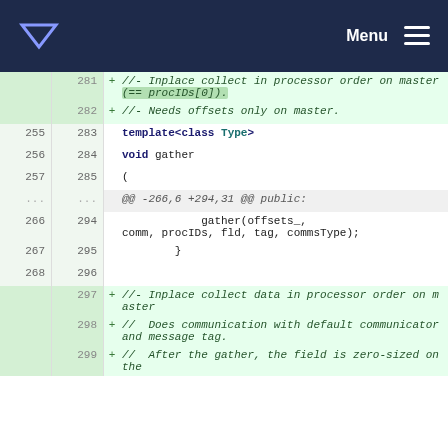Menu
[Figure (screenshot): Code diff view showing additions to a C++ gather function with line numbers, added lines marked with +, context lines, and a hunk header. Lines 281-299 shown with template<class Type>, void gather, gather(offsets_, comm, procIDs, fld, tag, commsType), and inplace collect comments.]